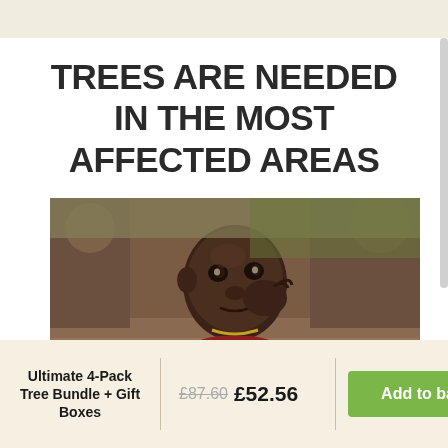TREES ARE NEEDED IN THE MOST AFFECTED AREAS
[Figure (photo): A young African child resting their head on their hand, looking directly at the camera, photographed in a dusty outdoor setting]
Ultimate 4-Pack Tree Bundle + Gift Boxes
£87.60 £52.56
Add to basket